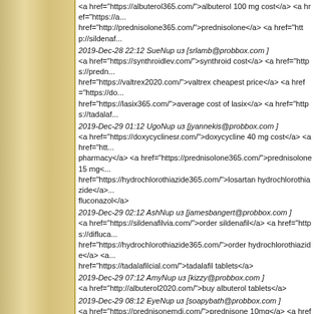<a href="https://albuterol365.com/">albuterol 100 mg cost</a> <a href="https://... href="http://prednisolone365.com/">prednisolone</a> <a href="http://sildenaf...
2019-Dec-28 22:12 SueNup из [srlamb@probbox.com ]
<a href="https://synthroidlev.com/">synthroid cost</a> <a href="https://predn... href="https://valtrex2020.com/">valtrex cheapest price</a> <a href="https://do... href="https://lasix365.com/">average cost of lasix</a> <a href="https://tadalaf...
2019-Dec-29 01:12 UgoNup из [jyannekis@probbox.com ]
<a href="https://doxycyclinesr.com/">doxycycline 40 mg cost</a> <a href="htt... pharmacy</a> <a href="https://prednisolone365.com/">prednisolone 15 mg<... href="https://hydrochlorothiazide365.com/">losartan hydrochlorothiazide</a>... fluconazol</a>
2019-Dec-29 02:12 AshNup из [jamesbangert@probbox.com ]
<a href="https://sildenafilvia.com/">order sildenafil</a> <a href="https://difluca... href="https://hydrochlorothiazide365.com/">order hydrochlorothiazide</a> <a... href="https://tadalafilcial.com/">tadalafil tablets</a>
2019-Dec-29 07:12 AmyNup из [kizzy@probbox.com ]
<a href="http://albuterol2020.com/">buy albuterol tablets</a>
2019-Dec-29 08:12 EyeNup из [soapybath@probbox.com ]
<a href="https://prednisonemdi.com/">prednisone 10mg</a> <a href="https://...
2019-Dec-29 11:12 JoeNup из [rbeatrice@probbox.com ]
<a href="https://azithromycin1000.com/">azithromycin cost</a> <a href="http... href="https://atarax24.com/">buy atarax online</a>
2019-Dec-29 13:12 AshNup из [baldok@probbox.com ]
<a href="https://tadalafilcial.com/">tadalafil generic</a> <a href="https://cipro... href="https://doxycyclinesr.com/">purchase doxycycline</a> <a href="https://hydrochlorothiazide365.com/">hydrochlorothiazide medication<... counter sildenafil</a>
2019-Dec-29 15:12 AmyNup из [jantaikuo@probbox.com ]
<a href="http://diflucan365.com/">how to buy diflucan</a>
2019-Dec-29 15:12 AlanNup из [jerrsr1213@probbox.com ]
<a href="https://prednisolone365.com/">prednisolone sodium</a> <a href="https://hydrochlorothiazide365.com/">hydrochlorothiazide 25 mg brand... <a href="https://doxycyclinesr.com/">buy doxycycline us</a> <a href="https://...